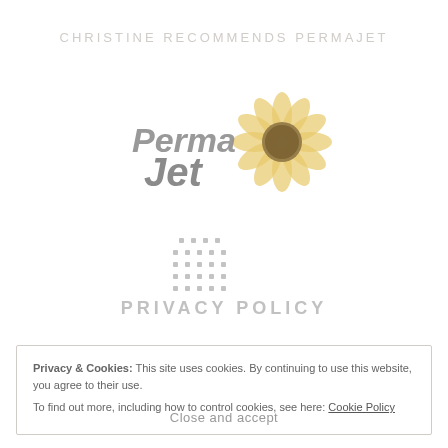CHRISTINE RECOMMENDS PERMAJET
[Figure (logo): PermaJet logo with sunflower — stylized italic text 'Perma Jet' in grey with an orange/yellow sunflower graphic on the right]
[Figure (logo): Privacy Policy heading with a grid of dots pattern above it, rendered in grey tones]
Privacy & Cookies: This site uses cookies. By continuing to use this website, you agree to their use.
To find out more, including how to control cookies, see here: Cookie Policy
Close and accept